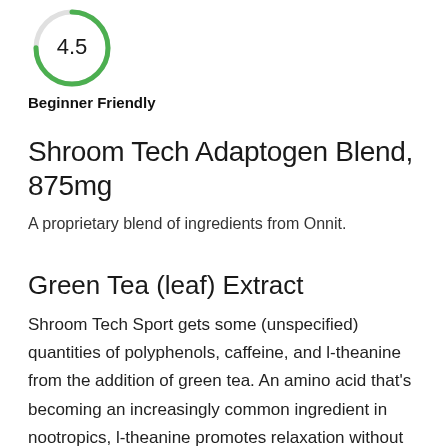[Figure (other): Partial green circle gauge showing score 4.5, cropped at top]
Beginner Friendly
Shroom Tech Adaptogen Blend, 875mg
A proprietary blend of ingredients from Onnit.
Green Tea (leaf) Extract
Shroom Tech Sport gets some (unspecified) quantities of polyphenols, caffeine, and l-theanine from the addition of green tea. An amino acid that's becoming an increasingly common ingredient in nootropics, l-theanine promotes relaxation without being a sedative. Research suggests it also helps the brain deal with stress. Often paired with caffeine, l-theanine effects appear complementary to the